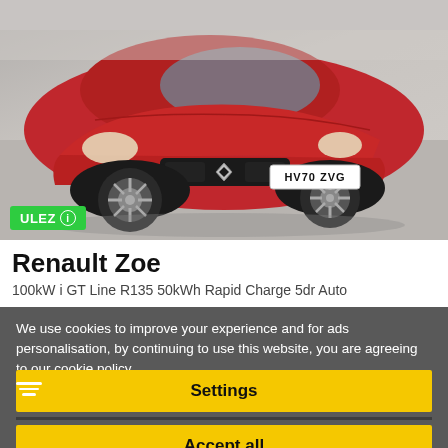[Figure (photo): Red Renault Zoe electric car photographed from front-right angle in a studio setting. License plate HV70 ZVG visible. ULEZ badge overlay in bottom-left corner of image.]
Renault Zoe
100kW i GT Line R135 50kWh Rapid Charge 5dr Auto
We use cookies to improve your experience and for ads personalisation, by continuing to use this website, you are agreeing to our cookie policy.
Settings
Accept all